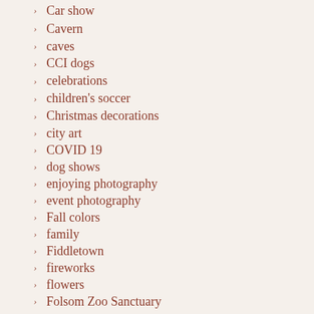Car show
Cavern
caves
CCI dogs
celebrations
children's soccer
Christmas decorations
city art
COVID 19
dog shows
enjoying photography
event photography
Fall colors
family
Fiddletown
fireworks
flowers
Folsom Zoo Sanctuary